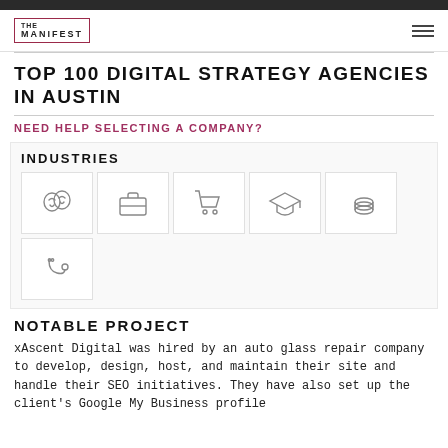THE MANIFEST
TOP 100 DIGITAL STRATEGY AGENCIES IN AUSTIN
NEED HELP SELECTING A COMPANY?
INDUSTRIES
[Figure (infographic): Six industry icons in a grid: theater masks, briefcase, shopping cart, graduation cap, coins/money, stethoscope]
NOTABLE PROJECT
xAscent Digital was hired by an auto glass repair company to develop, design, host, and maintain their site and handle their SEO initiatives. They have also set up the client's Google My Business profile